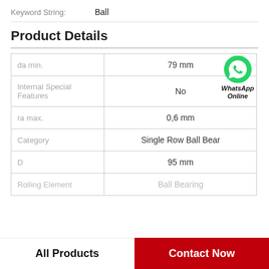Keyword String: Ball
Product Details
| Property | Value |
| --- | --- |
| da min. | 79 mm |
| Internal Special Features | No |
| ra max. | 0,6 mm |
| Category | Single Row Ball Bear |
| D | 95 mm |
| Rolling Element | Ball Bearing |
[Figure (logo): WhatsApp Online green phone icon with text 'WhatsApp Online']
All Products
Contact Now